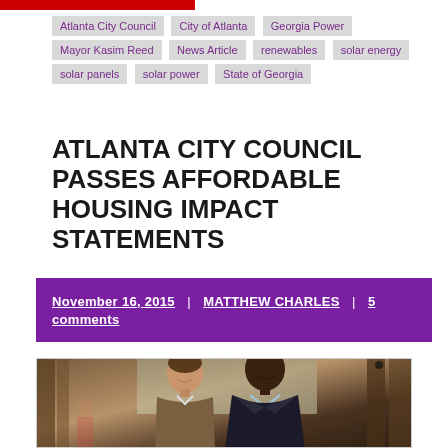Atlanta City Council
City of Atlanta
Georgia Power
Mayor Kasim Reed
News Article
renewables
solar energy
solar panels
solar power
State of Georgia
ATLANTA CITY COUNCIL PASSES AFFORDABLE HOUSING IMPACT STATEMENTS
November 16, 2015 | MATTHEW CHARLES | 5 comments
[Figure (photo): Two men smiling and posing together inside what appears to be a government council chamber with wood paneling and marble walls in the background.]